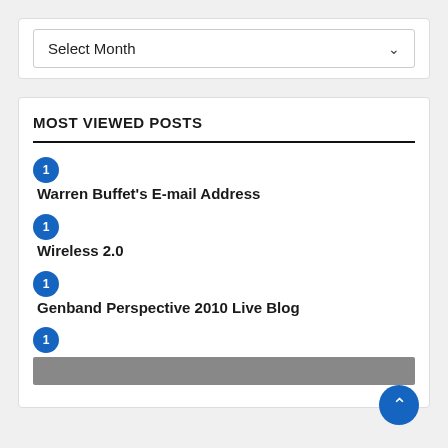[Figure (screenshot): A dropdown UI element with label 'Select Month' and a chevron icon on the right]
MOST VIEWED POSTS
1 Warren Buffet's E-mail Address
1 Wireless 2.0
1 Genband Perspective 2010 Live Blog
1 [photo item]